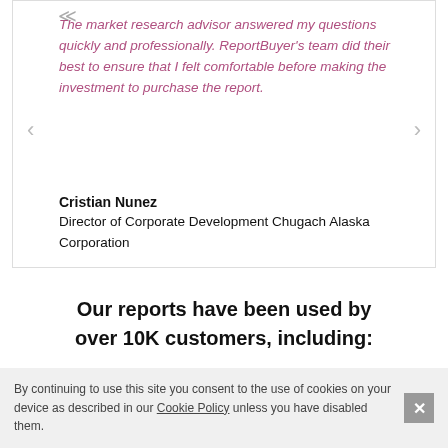The market research advisor answered my questions quickly and professionally. ReportBuyer's team did their best to ensure that I felt comfortable before making the investment to purchase the report.
Cristian Nunez
Director of Corporate Development Chugach Alaska Corporation
Our reports have been used by over 10K customers, including:
By continuing to use this site you consent to the use of cookies on your device as described in our Cookie Policy unless you have disabled them.